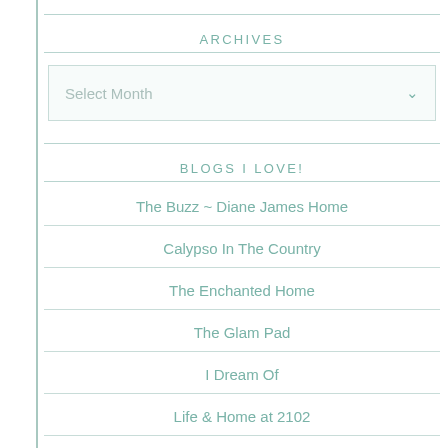ARCHIVES
Select Month
BLOGS I LOVE!
The Buzz ~ Diane James Home
Calypso In The Country
The Enchanted Home
The Glam Pad
I Dream Of
Life & Home at 2102
Mimosa Lane Blog